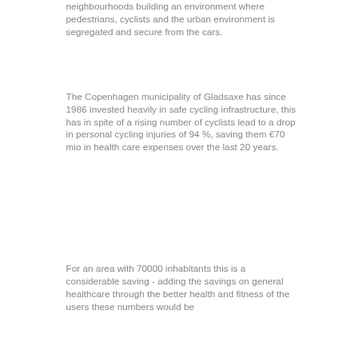neighbourhoods building an environment where pedestrians, cyclists and the urban environment is segregated and secure from the cars.
The Copenhagen municipality of Gladsaxe has since 1986 invested heavily in safe cycling infrastructure, this has in spite of a rising number of cyclists lead to a drop in personal cycling injuries of 94 %, saving them €70 mio in health care expenses over the last 20 years.
For an area with 70000 inhabitants this is a considerable saving - adding the savings on general healthcare through the better health and fitness of the users these numbers would be